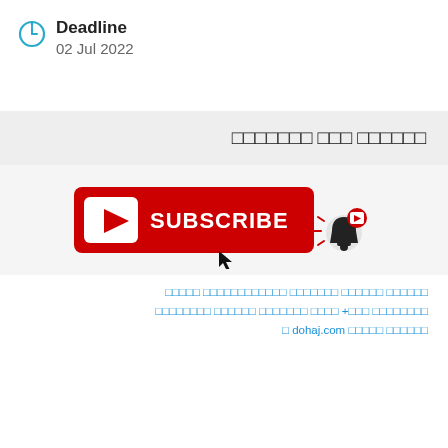Deadline
02 Jul 2022
□□□□□□ □□□ □□□□□□□
[Figure (illustration): YouTube Subscribe button (red rectangle with YouTube logo and SUBSCRIBE text) with a notification bell icon and cursor arrow]
□□□□□□ □□□□□□ □□□□□□□ □□□□□□□□□□□□ □□□□□ □□□□□□□□ □□□+ □□□□ □□□□□□□ □□□□□□ □□□□□□□□ □□□□□□ □□□□□ dohaj.com □